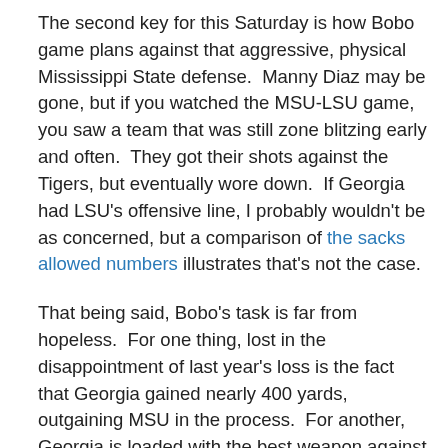The second key for this Saturday is how Bobo game plans against that aggressive, physical Mississippi State defense.  Manny Diaz may be gone, but if you watched the MSU-LSU game, you saw a team that was still zone blitzing early and often.  They got their shots against the Tigers, but eventually wore down.  If Georgia had LSU's offensive line, I probably wouldn't be as concerned, but a comparison of the sacks allowed numbers illustrates that's not the case.
That being said, Bobo's task is far from hopeless.  For one thing, lost in the disappointment of last year's loss is the fact that Georgia gained nearly 400 yards, outgaining MSU in the process.  For another, Georgia is loaded with the best weapon against a team that relies heavily on the zone blitz:  the tight end.  Aron White's coming out party last week at Ole Miss has to be a concern for MSU's